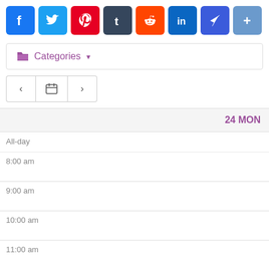[Figure (screenshot): Social media sharing icons: Facebook, Twitter, Pinterest, Tumblr, Reddit, LinkedIn, Pinpoint, and a plus/more button]
Categories ▾
[Figure (screenshot): Calendar navigation controls with left arrow, calendar icon, and right arrow buttons]
24 MON
All-day
8:00 am
9:00 am
10:00 am
11:00 am
12:00 am